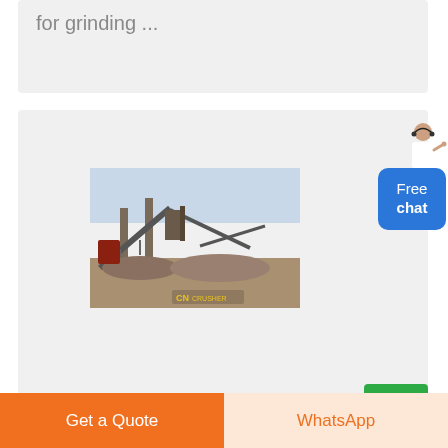for grinding ...
[Figure (photo): Industrial mining/crushing facility with conveyor belts, rock piles, and machinery. CN Crusher logo visible in lower right corner of the photo.]
Free
chat
Get a Quote
WhatsApp